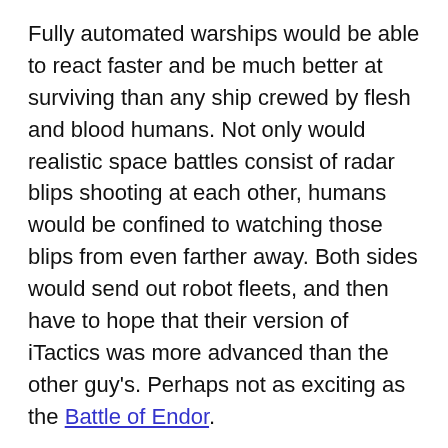Fully automated warships would be able to react faster and be much better at surviving than any ship crewed by flesh and blood humans. Not only would realistic space battles consist of radar blips shooting at each other, humans would be confined to watching those blips from even farther away. Both sides would send out robot fleets, and then have to hope that their version of iTactics was more advanced than the other guy's. Perhaps not as exciting as the Battle of Endor.
None of this is to say that realism can't or shouldn't be applied to space battles, just that it must be done carefully, because it will drastically affect the